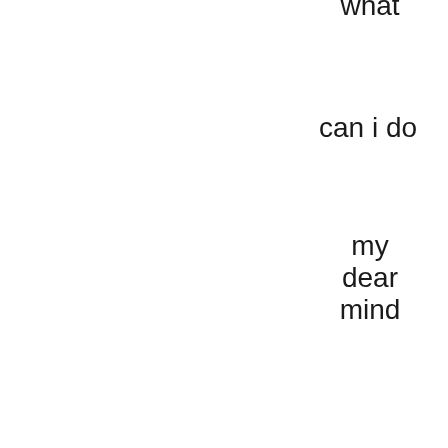what
can i do
my
dear
mind
God
only
knows
i
say